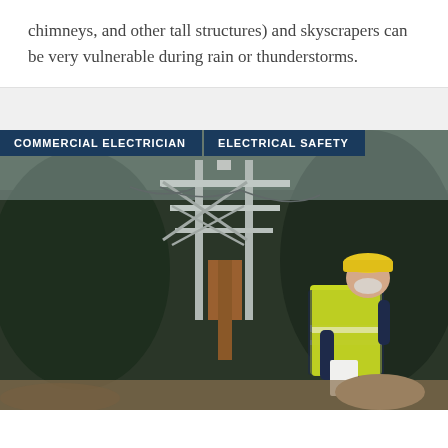chimneys, and other tall structures) and skyscrapers can be very vulnerable during rain or thunderstorms.
[Figure (photo): An electrician wearing a yellow hard hat and high-visibility vest inspects electrical power line infrastructure (metal pylons and overhead lines) while holding a document. Forest in background. Tags read 'COMMERCIAL ELECTRICIAN' and 'ELECTRICAL SAFETY'.]